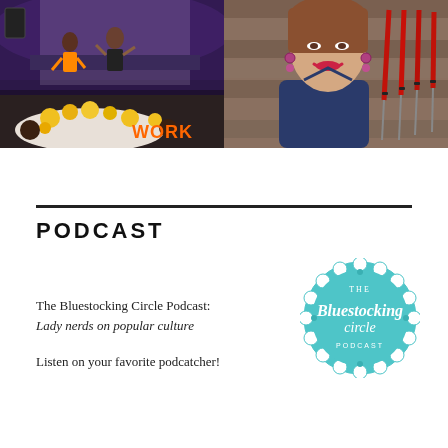[Figure (photo): Left photo: performance scene at an event venue with dancers in Hawaiian/tropical costumes on stage, tables with yellow flower decorations in foreground, text overlay 'WORK' in orange bold letters]
[Figure (photo): Right photo: selfie of a young woman smiling, wearing a navy halter top, with red-handled samurai swords displayed on a wooden wall behind her]
PODCAST
The Bluestocking Circle Podcast: Lady nerds on popular culture
Listen on your favorite podcatcher!
[Figure (logo): The Bluestocking Circle Podcast logo: circular teal/turquoise badge with lace-like border, script text reading 'The Bluestocking circle PODCAST' in white/light lettering]